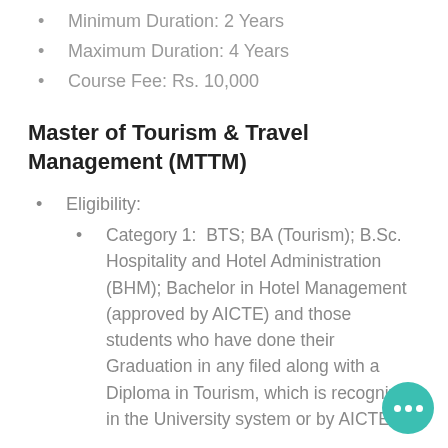Minimum Duration: 2 Years
Maximum Duration: 4 Years
Course Fee: Rs. 10,000
Master of Tourism & Travel Management (MTTM)
Eligibility:
Category 1:  BTS; BA (Tourism); B.Sc. Hospitality and Hotel Administration (BHM); Bachelor in Hotel Management (approved by AICTE) and those students who have done their Graduation in any filed along with a Diploma in Tourism, which is recognized in the University system or by AICTE.